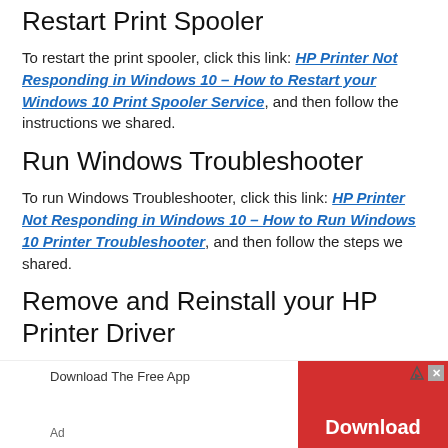Restart Print Spooler
To restart the print spooler, click this link: HP Printer Not Responding in Windows 10 – How to Restart your Windows 10 Print Spooler Service, and then follow the instructions we shared.
Run Windows Troubleshooter
To run Windows Troubleshooter, click this link: HP Printer Not Responding in Windows 10 – How to Run Windows 10 Printer Troubleshooter, and then follow the steps we shared.
Remove and Reinstall your HP Printer Driver
To remove and then reinstall your HP printer driver, click this link: HP Printer Jobs Stuck in Queue – How to Remove and then Reinstall HP Print Driver and then follow the steps we shared.
[Figure (other): Advertisement banner: Download The Free App with a red Download button and ad controls (triangle and X icons). Ad label shown.]